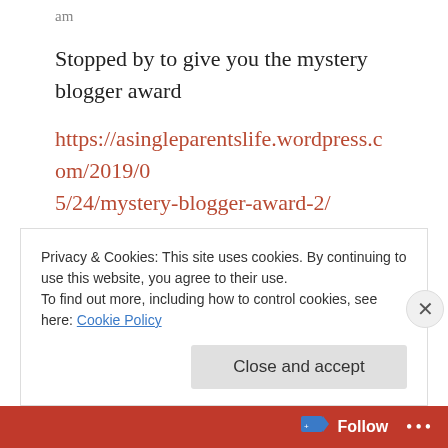am
Stopped by to give you the mystery blogger award
https://asingleparentslife.wordpress.com/2019/05/24/mystery-blogger-award-2/
★ Liked by 1 person
REPLY
Privacy & Cookies: This site uses cookies. By continuing to use this website, you agree to their use.
To find out more, including how to control cookies, see here: Cookie Policy
Close and accept
Follow